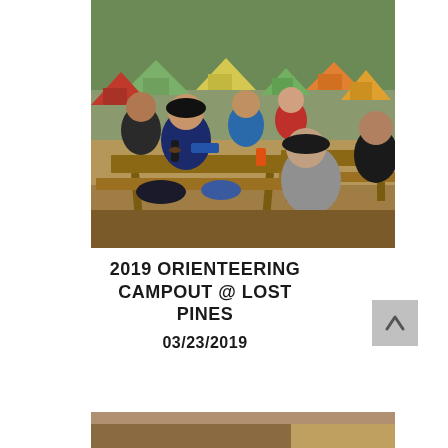[Figure (photo): Boys sitting at wooden picnic tables at a campsite with colorful tents (red, green, orange, yellow) in the background among trees. Outdoor camping scene.]
2019 ORIENTEERING CAMPOUT @ LOST PINES
03/23/2019
[Figure (photo): Partial bottom photo, mostly cropped, showing a camping or indoor scene.]